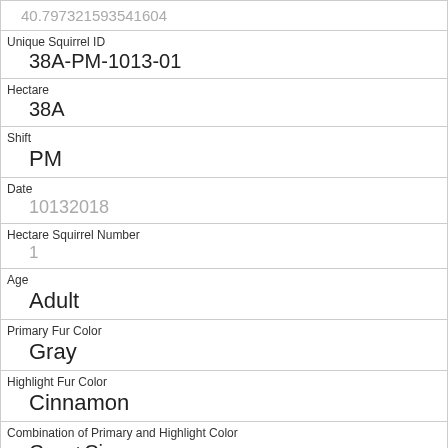| 40.797321593541604 |
| Unique Squirrel ID | 38A-PM-1013-01 |
| Hectare | 38A |
| Shift | PM |
| Date | 10132018 |
| Hectare Squirrel Number | 1 |
| Age | Adult |
| Primary Fur Color | Gray |
| Highlight Fur Color | Cinnamon |
| Combination of Primary and Highlight Color | Gray+Cinnamon |
| Color notes |  |